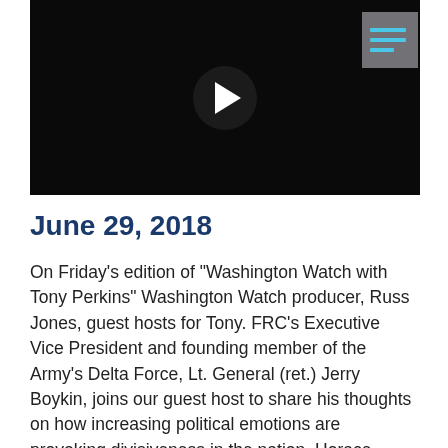[Figure (screenshot): Video player with dark/black background, a circular play button in the center, and a menu icon (hamburger with teal/cyan lines) in the top-right corner.]
June 29, 2018
On Friday's edition of "Washington Watch with Tony Perkins" Washington Watch producer, Russ Jones, guest hosts for Tony. FRC's Executive Vice President and founding member of the Army's Delta Force, Lt. General (ret.) Jerry Boykin, joins our guest host to share his thoughts on how increasing political emotions are provoking divisiveness in the nation. Horace Cooper, senior fellow with the National Center for Public Policy Research, co-chairman of the Project 21 National